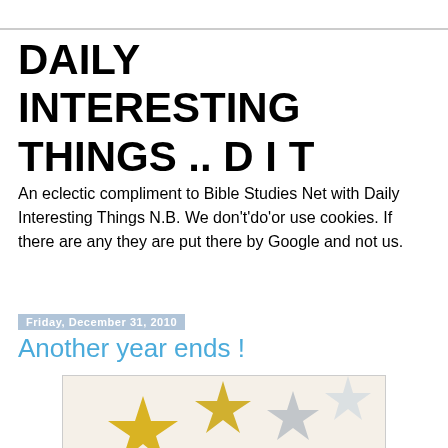DAILY INTERESTING THINGS .. D I T
An eclectic compliment to Bible Studies Net with Daily Interesting Things N.B. We don't'do'or use cookies. If there are any they are put there by Google and not us.
Friday, December 31, 2010
Another year ends !
[Figure (photo): A close-up photo of an analog clock face approaching midnight, with gold and silver star decorations in the background, suggesting a New Year's Eve celebration.]